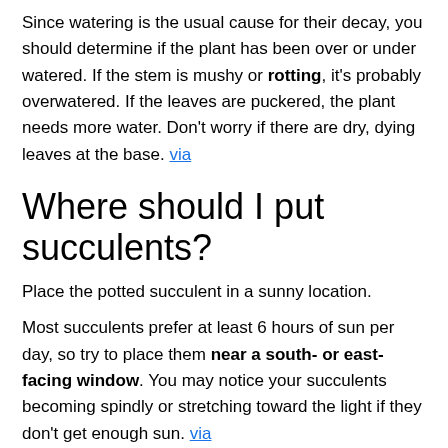Since watering is the usual cause for their decay, you should determine if the plant has been over or under watered. If the stem is mushy or rotting, it's probably overwatered. If the leaves are puckered, the plant needs more water. Don't worry if there are dry, dying leaves at the base. via
Where should I put succulents?
Place the potted succulent in a sunny location.
Most succulents prefer at least 6 hours of sun per day, so try to place them near a south- or east-facing window. You may notice your succulents becoming spindly or stretching toward the light if they don't get enough sun. via
How do you tell if Underwatering vs overwatering?